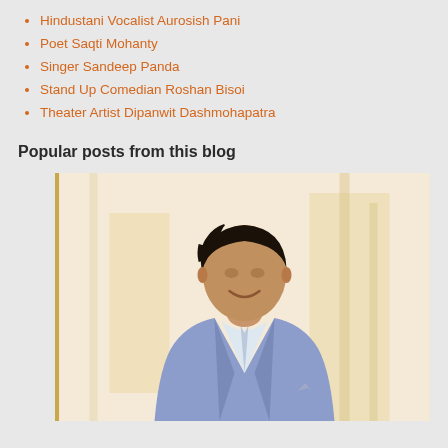Hindustani Vocalist Aurosish Pani
Poet Saqti Mohanty
Singer Sandeep Panda
Stand Up Comedian Roshan Bisoi
Theater Artist Dipanwit Dashmohapatra
Popular posts from this blog
[Figure (photo): Portrait photo of a young man in a light purple/blue blazer with white dress shirt and tie, smiling, against a warm golden/cream background]